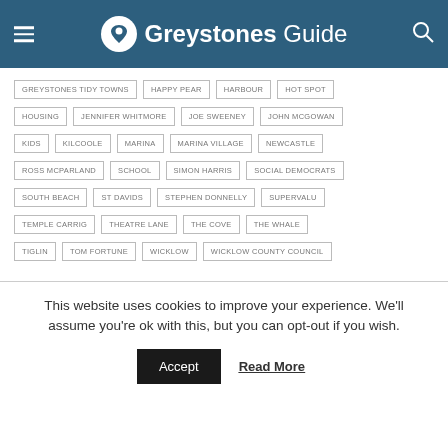Greystones Guide
GREYSTONES TIDY TOWNS
HAPPY PEAR
HARBOUR
HOT SPOT
HOUSING
JENNIFER WHITMORE
JOE SWEENEY
JOHN MCGOWAN
KIDS
KILCOOLE
MARINA
MARINA VILLAGE
NEWCASTLE
ROSS MCPARLAND
SCHOOL
SIMON HARRIS
SOCIAL DEMOCRATS
SOUTH BEACH
ST DAVIDS
STEPHEN DONNELLY
SUPERVALU
TEMPLE CARRIG
THEATRE LANE
THE COVE
THE WHALE
TIGLIN
TOM FORTUNE
WICKLOW
WICKLOW COUNTY COUNCIL
This website uses cookies to improve your experience. We'll assume you're ok with this, but you can opt-out if you wish.
Accept
Read More